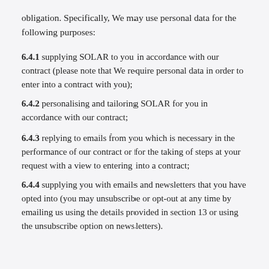obligation. Specifically, We may use personal data for the following purposes:
6.4.1  supplying SOLAR to you in accordance with our contract (please note that We require personal data in order to enter into a contract with you);
6.4.2  personalising and tailoring SOLAR for you in accordance with our contract;
6.4.3  replying to emails from you which is necessary in the performance of our contract or for the taking of steps at your request with a view to entering into a contract;
6.4.4  supplying you with emails and newsletters that you have opted into (you may unsubscribe or opt-out at any time by emailing us using the details provided in section 13 or using the unsubscribe option on newsletters).